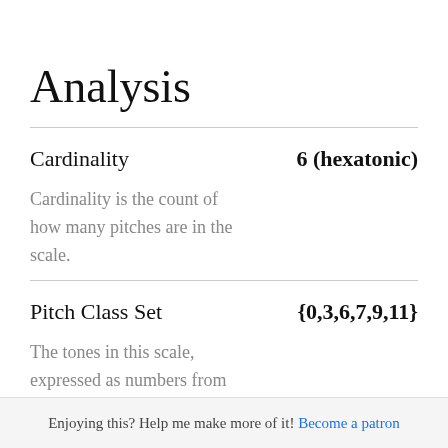Analysis
| Property | Value |
| --- | --- |
| Cardinality | 6 (hexatonic) |
| Pitch Class Set | {0,3,6,7,9,11} |
Cardinality is the count of how many pitches are in the scale.
The tones in this scale, expressed as numbers from
Enjoying this? Help me make more of it! Become a patron